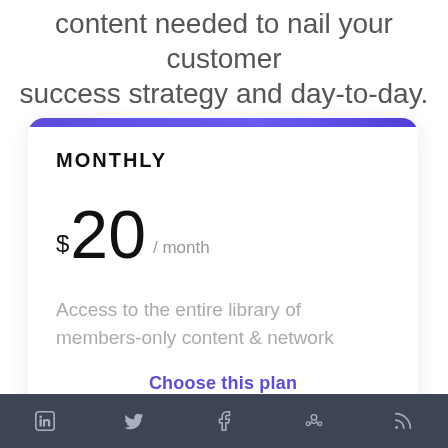content needed to nail your customer success strategy and day-to-day.
MONTHLY
$20 / month
Access to the entire library of members-only content & network
Choose this plan
[LinkedIn] [Twitter] [Facebook] [Community] [RSS]